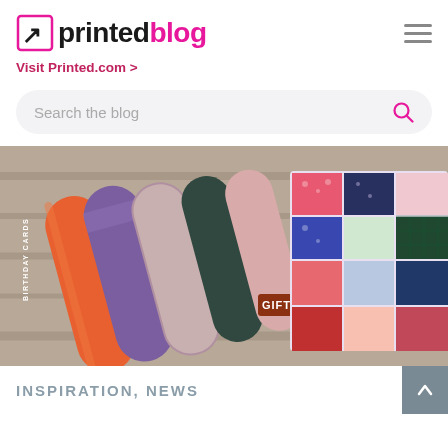printed blog
Visit Printed.com >
Search the blog
[Figure (photo): Product photo showing colorful gift wrap rolls and patterned paper swatches arranged on a wooden surface. Visible text on packaging includes 'GIFT WRA...' (Gift Wrap) and 'BIRTHDAY CARDS'.]
INSPIRATION, NEWS